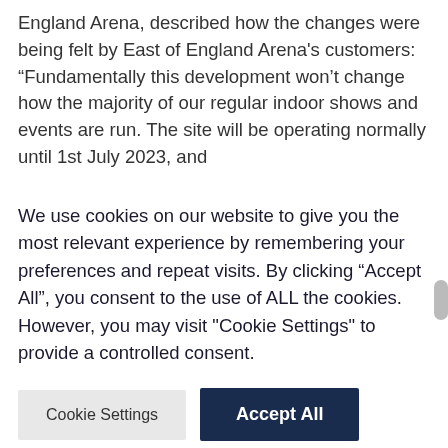England Arena, described how the changes were being felt by East of England Arena's customers: “Fundamentally this development won’t change how the majority of our regular indoor shows and events are run. The site will be operating normally until 1st July 2023, and
We use cookies on our website to give you the most relevant experience by remembering your preferences and repeat visits. By clicking “Accept All”, you consent to the use of ALL the cookies. However, you may visit "Cookie Settings" to provide a controlled consent.